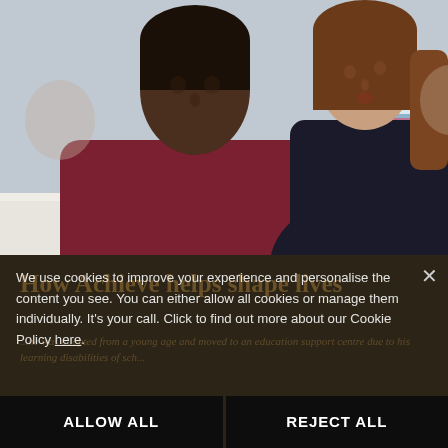[Figure (photo): Two people leaning over a table looking at a tablet device. Person on left wears a dark red/maroon sweater, person on right wears dark clothing. A teal/turquoise cup is on the table. The setting appears to be a classroom or workshop environment.]
How Achieve helps shape lives
We use cookies to improve your experience and personalise the content you see. You can either allow all cookies or manage them individually. It's your call. Click to find out more about our Cookie Policy here.
...he was adopted from a young age and moved to an education support centre due to his learning disabilities of sch...
ALLOW ALL
REJECT ALL